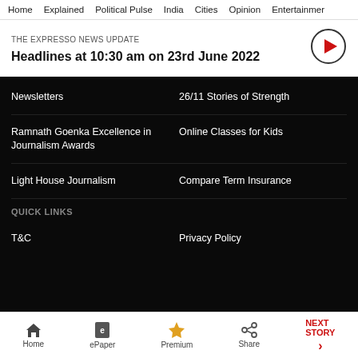Home | Explained | Political Pulse | India | Cities | Opinion | Entertainment
THE EXPRESSO NEWS UPDATE
Headlines at 10:30 am on 23rd June 2022
Newsletters
26/11 Stories of Strength
Ramnath Goenka Excellence in Journalism Awards
Online Classes for Kids
Light House Journalism
Compare Term Insurance
QUICK LINKS
T&C
Privacy Policy
Home | ePaper | Premium | Share | NEXT STORY →